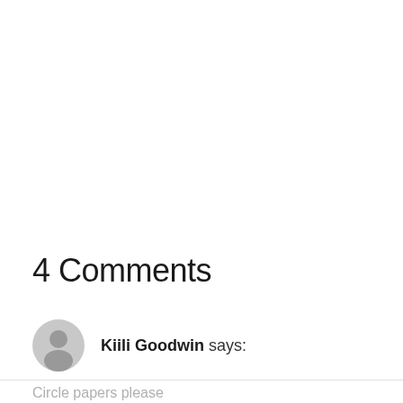4 Comments
Kiili Goodwin says:
Circle papers please